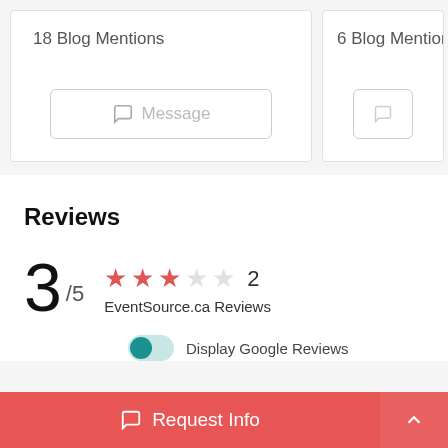18 Blog Mentions
6 Blog Mention
Message
Reviews
3 /5 ★★★☆☆ 2 EventSource.ca Reviews
Display Google Reviews
Reviews 2   Endorsements   Mentions 7
Request Info